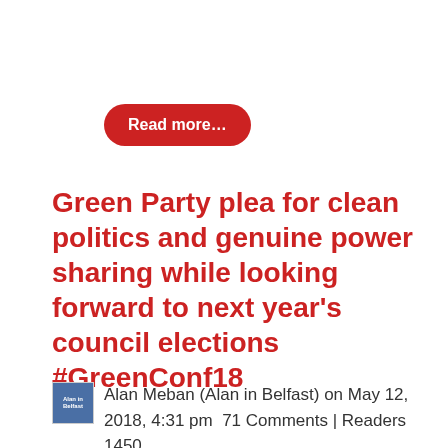Read more…
Green Party plea for clean politics and genuine power sharing while looking forward to next year's council elections #GreenConf18
Alan Meban (Alan in Belfast) on May 12, 2018, 4:31 pm  71 Comments | Readers 1450